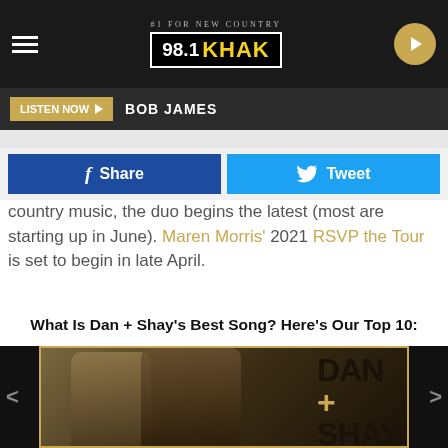#1 FOR NEW COUNTRY 98.1 KHAK
LISTEN NOW  BOB JAMES
Share  Tweet
country music, the duo begins the latest (most are starting up in June). Maren Morris' 2021 RSVP the Tour is set to begin in late April.
What Is Dan + Shay's Best Song? Here's Our Top 10:
[Figure (photo): Dan + Shay album art showing two men, one in a patterned shirt and one in a leather jacket, with DAN + SHAY text on the right side and a gold border frame]